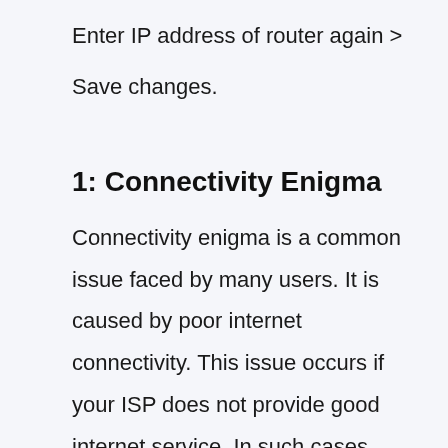Enter IP address of router again >
Save changes.
1: Connectivity Enigma
Connectivity enigma is a common issue faced by many users. It is caused by poor internet connectivity. This issue occurs if your ISP does not provide good internet service. In such cases,